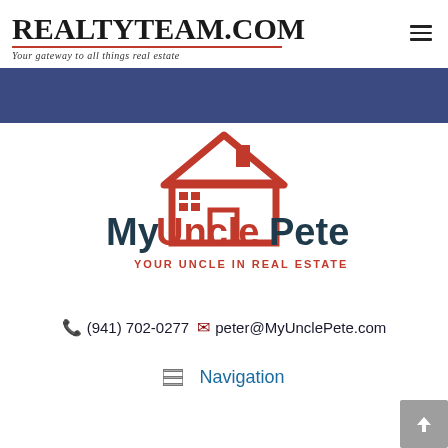REALTYTEAM.COM — Your gateway to all things real estate
[Figure (logo): MyUnclePete real estate logo with red house icon above text 'MyUnclePete YOUR UNCLE IN REAL ESTATE']
(941) 702-0277  peter@MyUnclePete.com
Navigation